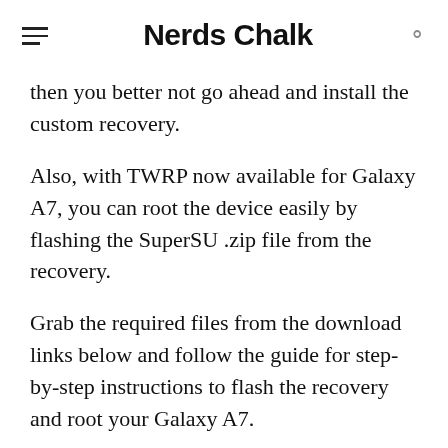Nerds Chalk
then you better not go ahead and install the custom recovery.
Also, with TWRP now available for Galaxy A7, you can root the device easily by flashing the SuperSU .zip file from the recovery.
Grab the required files from the download links below and follow the guide for step-by-step instructions to flash the recovery and root your Galaxy A7.